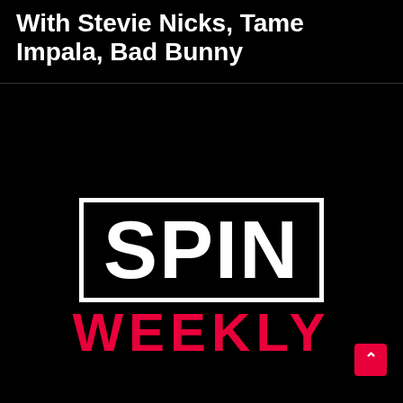With Stevie Nicks, Tame Impala, Bad Bunny
[Figure (logo): SPIN WEEKLY logo — white 'SPIN' text inside a white rectangular border on black background, with 'WEEKLY' in red text below]